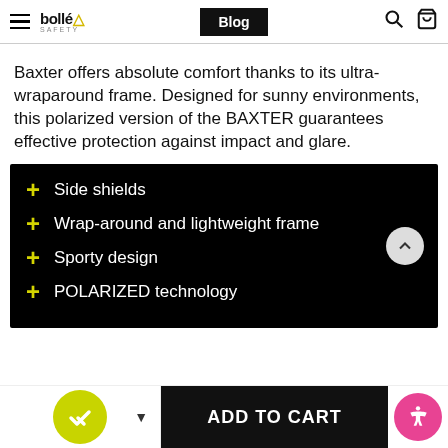bollé safety | Blog
Baxter offers absolute comfort thanks to its ultra-wraparound frame. Designed for sunny environments, this polarized version of the BAXTER guarantees effective protection against impact and glare.
Side shields
Wrap-around and lightweight frame
Sporty design
POLARIZED technology
ADD TO CART